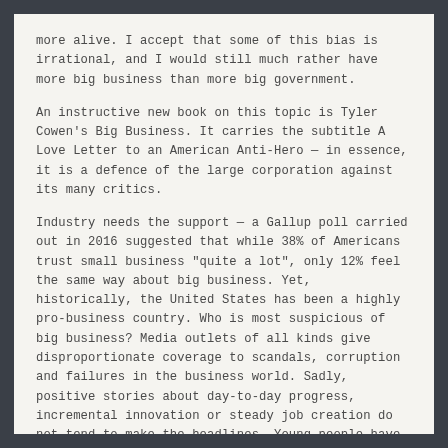more alive. I accept that some of this bias is irrational, and I would still much rather have more big business than more big government.
An instructive new book on this topic is Tyler Cowen's Big Business. It carries the subtitle A Love Letter to an American Anti-Hero — in essence, it is a defence of the large corporation against its many critics.
Industry needs the support — a Gallup poll carried out in 2016 suggested that while 38% of Americans trust small business "quite a lot", only 12% feel the same way about big business. Yet, historically, the United States has been a highly pro-business country. Who is most suspicious of big business? Media outlets of all kinds give disproportionate coverage to scandals, corruption and failures in the business world. Sadly, positive stories about day-to-day progress, incremental innovation or steady job creation do not tend to make the headlines. Young people have a more cynical attitude to big business than older generations. This is somewhat surprising